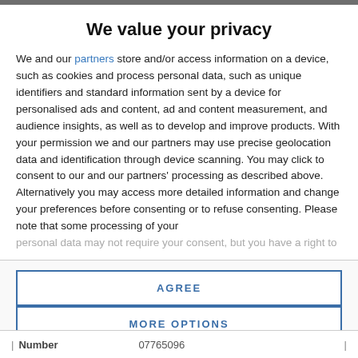We value your privacy
We and our partners store and/or access information on a device, such as cookies and process personal data, such as unique identifiers and standard information sent by a device for personalised ads and content, ad and content measurement, and audience insights, as well as to develop and improve products. With your permission we and our partners may use precise geolocation data and identification through device scanning. You may click to consent to our and our partners' processing as described above. Alternatively you may access more detailed information and change your preferences before consenting or to refuse consenting. Please note that some processing of your personal data may not require your consent, but you have a right to
AGREE
MORE OPTIONS
| Number | 07765096 |
| --- | --- |